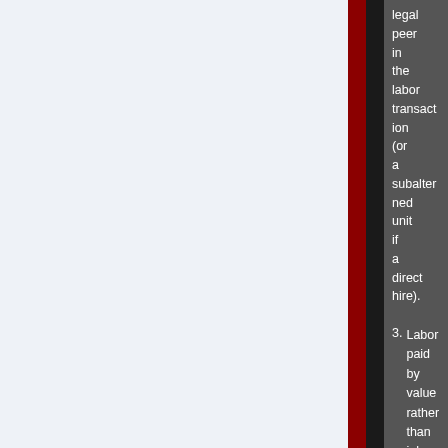legal peer in the labor transaction (or a subalterned unit if a direct hire).
3. Labor paid by value rather than job time.